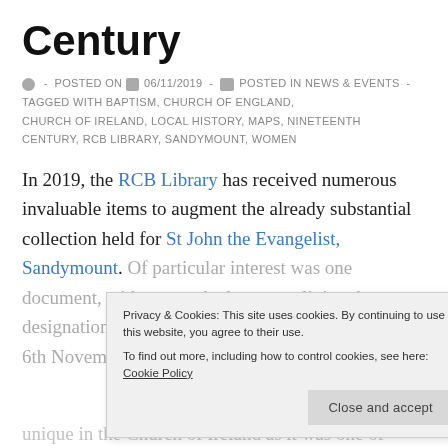Century
- POSTED ON 06/11/2019 - POSTED IN NEWS & EVENTS - TAGGED WITH BAPTISM, CHURCH OF ENGLAND, CHURCH OF IRELAND, LOCAL HISTORY, MAPS, NINETEENTH CENTURY, RCB LIBRARY, SANDYMOUNT, WOMEN
In 2019, the RCB Library has received numerous invaluable items to augment the already substantial collection held for St John the Evangelist, Sandymount. Of particular interest was one document, with an attached map, outlining the designation of parochial district boundaries, dated 6th November 1867.
Privacy & Cookies: This site uses cookies. By continuing to use this website, you agree to their use. To find out more, including how to control cookies, see here: Cookie Policy
unique in the Church of Ireland as it was one of